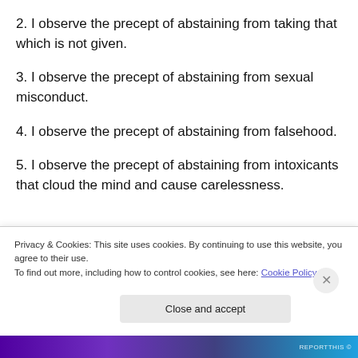2. I observe the precept of abstaining from taking that which is not given.
3. I observe the precept of abstaining from sexual misconduct.
4. I observe the precept of abstaining from falsehood.
5. I observe the precept of abstaining from intoxicants that cloud the mind and cause carelessness.
The refrain “I observe the precept of abstaining from…”
Privacy & Cookies: This site uses cookies. By continuing to use this website, you agree to their use.
To find out more, including how to control cookies, see here: Cookie Policy